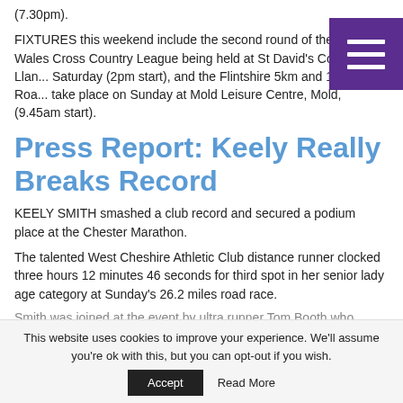(7.30pm).
FIXTURES this weekend include the second round of the North Wales Cross Country League being held at St David's College, Llan... Saturday (2pm start), and the Flintshire 5km and 10km Roa... take place on Sunday at Mold Leisure Centre, Mold, (9.45am start).
Press Report: Keely Really Breaks Record
KEELY SMITH smashed a club record and secured a podium place at the Chester Marathon.
The talented West Cheshire Athletic Club distance runner clocked three hours 12 minutes 46 seconds for third spot in her senior lady age category at Sunday's 26.2 miles road race.
Smith was joined at the event by ultra runner Tom Booth who was...
This website uses cookies to improve your experience. We'll assume you're ok with this, but you can opt-out if you wish.